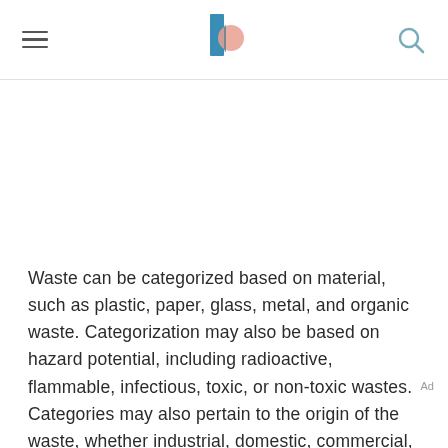Waste can be categorized based on material, such as plastic, paper, glass, metal, and organic waste. Categorization may also be based on hazard potential, including radioactive, flammable, infectious, toxic, or non-toxic wastes. Categories may also pertain to the origin of the waste, whether industrial, domestic, commercial, institutional, or construction and